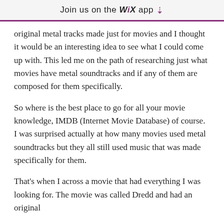Join us on the WiX app ↓
original metal tracks made just for movies and I thought it would be an interesting idea to see what I could come up with. This led me on the path of researching just what movies have metal soundtracks and if any of them are composed for them specifically.
So where is the best place to go for all your movie knowledge, IMDB (Internet Movie Database) of course. I was surprised actually at how many movies used metal soundtracks but they all still used music that was made specifically for them.
That's when I across a movie that had everything I was looking for. The movie was called Dredd and had an original